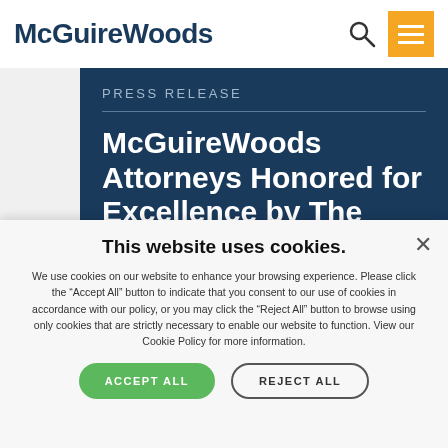McGuireWoods
McGuireWoods Attorneys Honored for Excellence by The National Black
PRESS RELEASE
This website uses cookies.
We use cookies on our website to enhance your browsing experience. Please click the “Accept All” button to indicate that you consent to our use of cookies in accordance with our policy, or you may click the “Reject All” button to browse using only cookies that are strictly necessary to enable our website to function. View our Cookie Policy for more information.
ACCEPT ALL
REJECT ALL